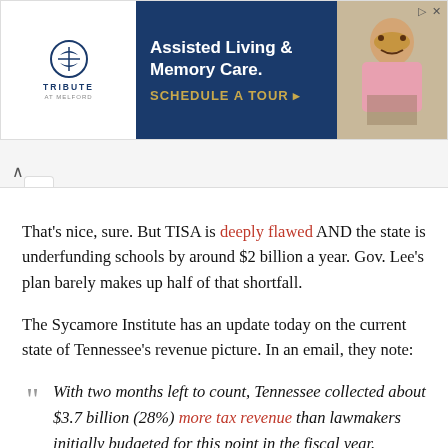[Figure (screenshot): Advertisement banner for Tribute at Melford Assisted Living & Memory Care with a Schedule a Tour call-to-action button and photo of elderly person.]
That's nice, sure. But TISA is deeply flawed AND the state is underfunding schools by around $2 billion a year. Gov. Lee's plan barely makes up half of that shortfall.
The Sycamore Institute has an update today on the current state of Tennessee's revenue picture. In an email, they note:
With two months left to count, Tennessee collected about $3.7 billion (28%) more tax revenue than lawmakers initially budgeted for this point in the fiscal year.
That's remarkable. Perhaps even more remarkable is the lack of commitment to use these funds to dramatically